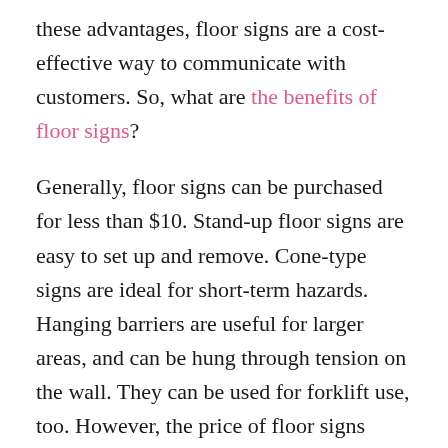these advantages, floor signs are a cost-effective way to communicate with customers. So, what are the benefits of floor signs?
Generally, floor signs can be purchased for less than $10. Stand-up floor signs are easy to set up and remove. Cone-type signs are ideal for short-term hazards. Hanging barriers are useful for larger areas, and can be hung through tension on the wall. They can be used for forklift use, too. However, the price of floor signs varies greatly, and they are not as effective as floor decals.
Industrial floor signs are an excellent choice for workplace safety. These signs are UL-rated and UV-resistant, making them suitable for industrial settings. They also provide important information to employees and are designed to withstand heavy forklift traffic. The signs are easy to apply